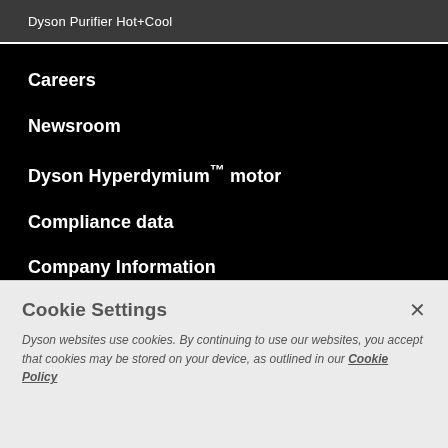Dyson Purifier Hot+Cool
Careers
Newsroom
Dyson Hyperdymium™ motor
Compliance data
Company Information
AM04/AM05 safety recall
Sustainability
Gender Pay Gap 2021
Cookie Settings
Dyson websites use cookies. By continuing to use our websites, you accept that cookies may be stored on your device, as outlined in our Cookie Policy